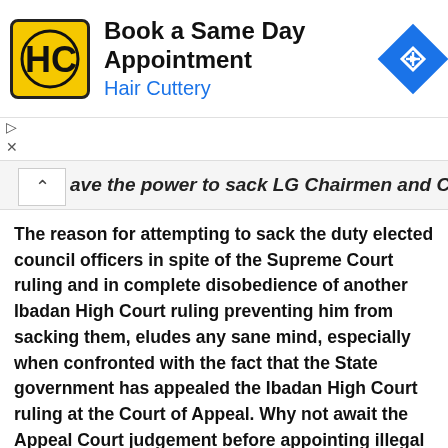[Figure (other): Hair Cuttery advertisement banner with logo, text 'Book a Same Day Appointment', 'Hair Cuttery', and blue arrow navigation icon]
ave the power to sack LG Chairmen and Councilors.
The reason for attempting to sack the duty elected council officers in spite of the Supreme Court ruling and in complete disobedience of another Ibadan High Court ruling preventing him from sacking them, eludes any sane mind, especially when confronted with the fact that the State government has appealed the Ibadan High Court ruling at the Court of Appeal. Why not await the Appeal Court judgement before appointing illegal caretaker Chairmen, foreign to the Nigerian constitution and proscribed by the Supreme Court. Afterall, its trite law that parties should maintain status quo when a matter is before a court of competent jurisdiction. The status quo at the time of filing the appeal was that the duly elected Chairmen were in office. Why the desperate need to install chronies and remove duly elected ones, other than to syphoon local government